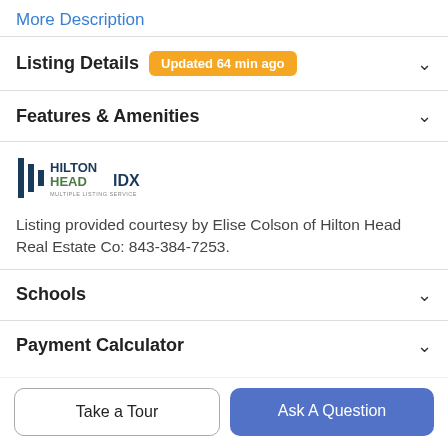More Description
Listing Details  Updated 64 min ago
Features & Amenities
[Figure (logo): Hilton Head IDX Multiple Listing Service logo]
Listing provided courtesy by Elise Colson of Hilton Head Real Estate Co: 843-384-7253.
Schools
Payment Calculator
Take a Tour
Ask A Question